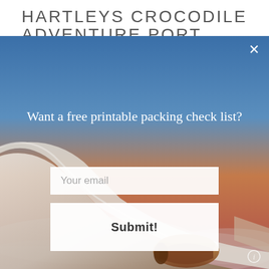HARTLEYS CROCODILE ADVENTURE PORT
[Figure (screenshot): A popup modal overlay on a travel/adventure blog website. The background shows an airplane wing viewed from a window seat against a gradient sky (blue at top transitioning to warm orange/pink at horizon) with clouds below. The modal contains white text 'Want a free printable packing check list?' with an email input field and a Submit! button. An X close button appears top-right and an info icon bottom-right.]
Want a free printable packing check list?
Your email
Submit!